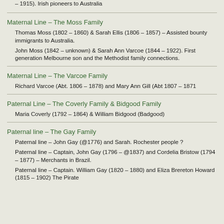– 1915). Irish pioneers to Australia
Maternal Line – The Moss Family
Thomas Moss (1802 – 1860) & Sarah Ellis (1806 – 1857) – Assisted bounty immigrants to Australia.
John Moss (1842 – unknown) & Sarah Ann Varcoe (1844 – 1922). First generation Melbourne son and the Methodist family connections.
Maternal Line – The Varcoe Family
Richard Varcoe (Abt. 1806 – 1878) and Mary Ann Gill (Abt 1807 – 1871
Paternal Line – The Coverly Family & Bidgood Family
Maria Coverly (1792 – 1864) & William Bidgood (Badgood)
Paternal line – The Gay Family
Paternal line – John Gay (@1776) and Sarah. Rochester people ?
Paternal line – Captain, John Gay (1796 – @1837) and Cordelia Bristow (1794 – 1877) – Merchants in Brazil.
Paternal line – Captain. William Gay (1820 – 1880) and Eliza Brereton Howard (1815 – 1902) The Pirate